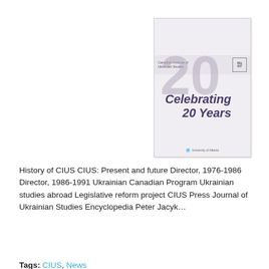[Figure (illustration): Book cover showing 'Celebrating 20 Years' with a large '20' watermark, Canadian Institute of Ukrainian Studies branding]
History of CIUS CIUS: Present and future Director, 1976-1986 Director, 1986-1991 Ukrainian Canadian Program Ukrainian studies abroad Legislative reform project CIUS Press Journal of Ukrainian Studies Encyclopedia Peter Jacyk…
Tags: CIUS, News
NEWSLETTER VOL 1 ISSUE 1 (FALL 1976)